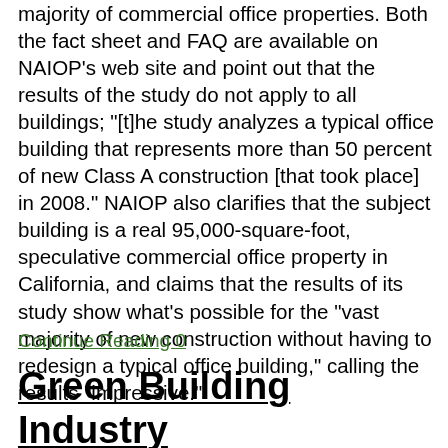majority of commercial office properties. Both the fact sheet and FAQ are available on NAIOP's web site and point out that the results of the study do not apply to all buildings; "[t]he study analyzes a typical office building that represents more than 50 percent of new Class A construction [that took place] in 2008." NAIOP also clarifies that the subject building is a real 95,000-square-foot, speculative commercial office property in California, and claims that the results of its study show what's possible for the "vast majority of new construction without having to redesign a typical office building," calling the results "impressive."
Continue Reading 0
Green Building Industry Apoplectic Over NAIOP